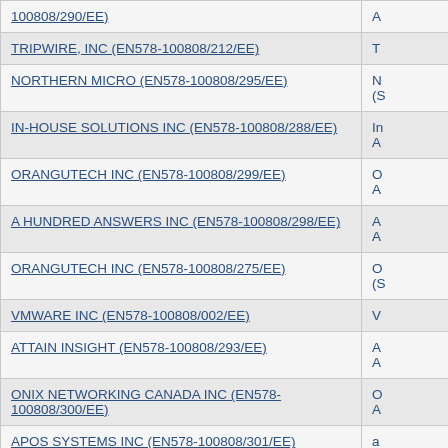| Vendor Name | Details (truncated) |
| --- | --- |
| 100808/290/EE) | A |
| TRIPWIRE, INC (EN578-100808/212/EE) | T |
| NORTHERN MICRO (EN578-100808/295/EE) | N
(S |
| IN-HOUSE SOLUTIONS INC (EN578-100808/288/EE) | In
A |
| ORANGUTECH INC (EN578-100808/299/EE) | O
A |
| A HUNDRED ANSWERS INC (EN578-100808/298/EE) | A
A |
| ORANGUTECH INC (EN578-100808/275/EE) | O
(S |
| VMWARE INC (EN578-100808/002/EE) | V |
| ATTAIN INSIGHT (EN578-100808/293/EE) | A
A |
| ONIX NETWORKING CANADA INC (EN578-100808/300/EE) | O
A |
| APOS SYSTEMS INC (EN578-100808/301/EE) | a |